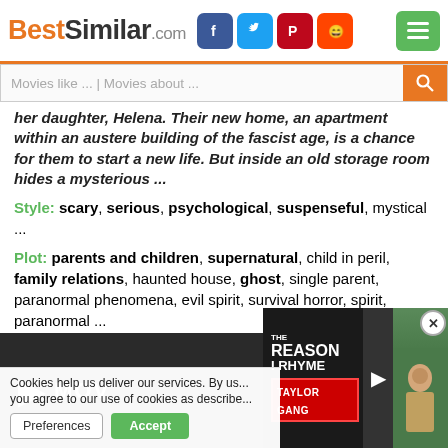BestSimilar.com
her daughter, Helena. Their new home, an apartment within an austere building of the fascist age, is a chance for them to start a new life. But inside an old storage room hides a mysterious ...
Style: scary, serious, psychological, suspenseful, mystical ...
Plot: parents and children, supernatural, child in peril, family relations, haunted house, ghost, single parent, paranormal phenomena, evil spirit, survival horror, spirit, paranormal ...
Time: 21st century, contemporary
Place: italy
[Figure (screenshot): Movie video banner and advertisement for 'The Reason I Rhyme - Taylor Gang' with play button]
Cookies help us deliver our services. By us... you agree to our use of cookies as describe...
Preferences | Accept